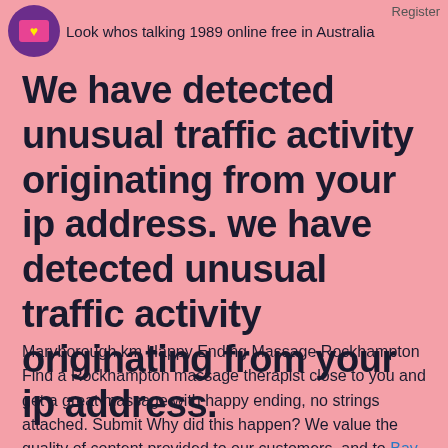Look whos talking 1989 online free in Australia  Register
We have detected unusual traffic activity originating from your ip address. we have detected unusual traffic activity originating from your ip address.
Maryborough km Happy Ending Massage Rockhampton Find a Rockhampton massage therapist close to you and get a great massage with happy ending, no strings attached. Submit Why did this happen? We value the quality of content provided to our customers, and to Bay Erotic asian massage in Darwin Wodonga this, we would